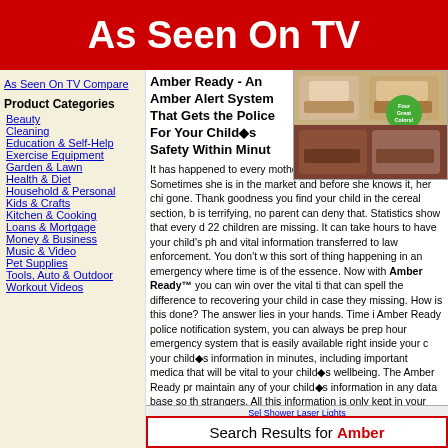As Seen On TV
As Seen On TV Compare
Product Categories
Beauty
Cleaning
Education & Self-Help
Exercise Equipment
Garden & Lawn
Health & Diet
Household & Personal
Kids & Crafts
Kitchen & Cooking
Loans & Mortgage
Money & Business
Music & Video
Pet Supplies
Tools, Auto & Outdoor
Workout Videos
[Figure (photo): Product photo showing recliner chairs in multiple colors with a green badge reading Four Great Colors]
Amber Ready - An Amber Alert System That Gets the Police For Your Child's Safety Within Minutes
It has happened to every mother who is busy with many things. Sometimes she is in the market and before she knows it, her child is gone. Thank goodness you find your child in the cereal section, but it is terrifying, no parent can deny that. Statistics show that every day 22 children are missing. It can take hours to have your child's photo and vital information transferred to law enforcement. You don't want this sort of thing happening in an emergency where time is of the essence. Now with Amber Ready™ you can win over the vital time that can spell the difference to recovering your child in case they are missing. How is this done? The answer lies in your hands. Time is Amber Ready police notification system, you can always be prepared hour emergency system that is easily available right inside your cell your child's information in minutes, including important medical that will be vital to your child's wellbeing. The Amber Ready pro maintain any of your child's information in any data base so that strangers. All this information is only kept in your cell phone. No you. Use the links below to find the best offer on Amber Rea
Search Results for Amber